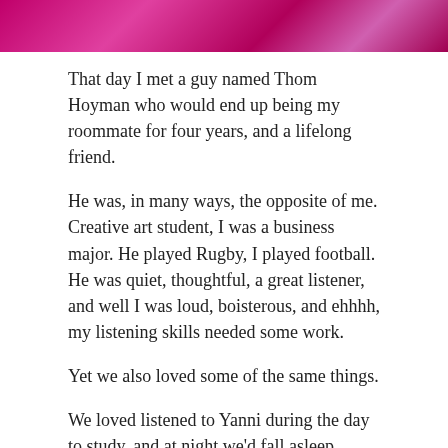[Figure (photo): Top portion of a pink and magenta abstract or artistic image, cropped at the top of the page.]
That day I met a guy named Thom Hoyman who would end up being my roommate for four years, and a lifelong friend.
He was, in many ways, the opposite of me. Creative art student, I was a business major. He played Rugby, I played football. He was quiet, thoughtful, a great listener, and well I was loud, boisterous, and ehhhh, my listening skills needed some work.
Yet we also loved some of the same things.
We loved listened to Yanni during the day to study, and at night we'd fall asleep listening to Metallica, the Black Album (arguably one of the best albums to ever be released in the 90's!). We shared the same sense of